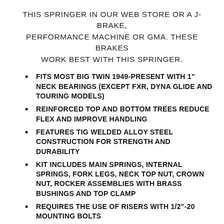THIS SPRINGER IN OUR WEB STORE OR A J-BRAKE, PERFORMANCE MACHINE OR GMA. THESE BRAKES WORK BEST WITH THIS SPRINGER.
FITS MOST BIG TWIN 1949-PRESENT WITH 1" NECK BEARINGS (EXCEPT FXR, DYNA GLIDE AND TOURING MODELS)
REINFORCED TOP AND BOTTOM TREES REDUCE FLEX AND IMPROVE HANDLING
FEATURES TIG WELDED ALLOY STEEL CONSTRUCTION FOR STRENGTH AND DURABILITY
KIT INCLUDES MAIN SPRINGS, INTERNAL SPRINGS, FORK LEGS, NECK TOP NUT, CROWN NUT, ROCKER ASSEMBLIES WITH BRASS BUSHINGS AND TOP CLAMP
REQUIRES THE USE OF RISERS WITH 1/2"-20 MOUNTING BOLTS
WE HAVE AVAILABLE (OPTIONAL) 4 AND 6" BILLET CHROME RISERS FOR SPRINGERS